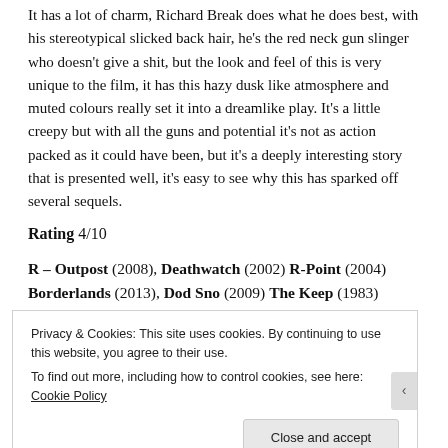It has a lot of charm, Richard Break does what he does best, with his stereotypical slicked back hair, he's the red neck gun slinger who doesn't give a shit, but the look and feel of this is very unique to the film, it has this hazy dusk like atmosphere and muted colours really set it into a dreamlike play. It's a little creepy but with all the guns and potential it's not as action packed as it could have been, but it's a deeply interesting story that is presented well, it's easy to see why this has sparked off several sequels.
Rating 4/10
R – Outpost (2008), Deathwatch (2002) R-Point (2004) Borderlands (2013), Dod Sno (2009) The Keep (1983)
Privacy & Cookies: This site uses cookies. By continuing to use this website, you agree to their use. To find out more, including how to control cookies, see here: Cookie Policy
Close and accept